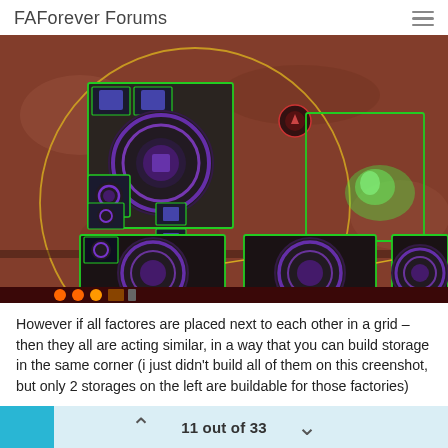FAForever Forums
[Figure (screenshot): A top-down strategy game screenshot showing factory units arranged in a grid on a reddish-brown terrain. Green selection boxes outline multiple factory structures with purple energy rings. A yellow circle indicates a build radius. Green glowing resource or explosion visible in upper right. Bottom row shows three large factory structures side by side.]
However if all factores are placed next to each other in a grid – then they all are acting similar, in a way that you can build storage in the same corner (i just didn't build all of them on this creenshot, but only 2 storages on the left are buildable for those factories)
11 out of 33